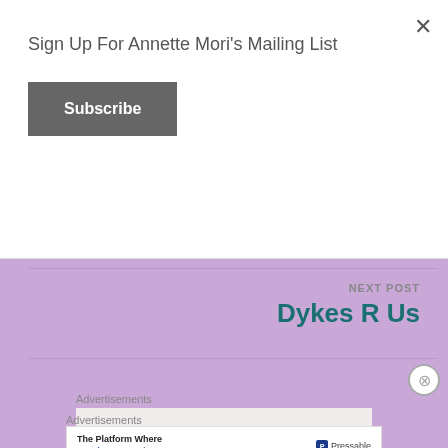Sign Up For Annette Mori's Mailing List
Subscribe
NEXT POST
Dykes R Us
Advertisements
Advertisements
The Platform Where WordPress Works Best
Pressable